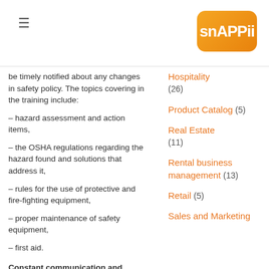snappii
be timely notified about any changes in safety policy. The topics covering in the training include:
– hazard assessment and action items,
– the OSHA regulations regarding the hazard found and solutions that address it,
– rules for the use of protective and fire-fighting equipment,
– proper maintenance of safety equipment,
– first aid.
Constant communication and control. Regular safety discussions encourage employee involvement in maintaining a safe environment and make it
Hospitality (26)
Product Catalog (5)
Real Estate (11)
Rental business management (13)
Retail (5)
Sales and Marketing